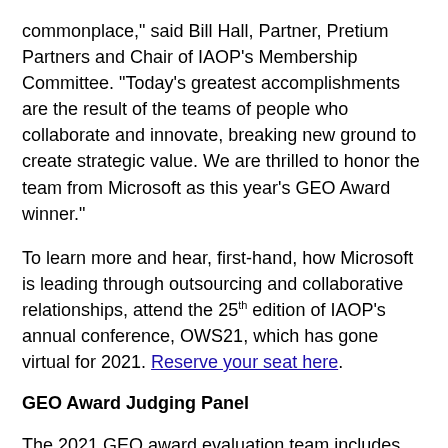The early achievements gained through outsourcing are now commonplace," said Bill Hall, Partner, Pretium Partners and Chair of IAOP's Membership Committee. "Today's greatest accomplishments are the result of the teams of people who collaborate and innovate, breaking new ground to create strategic value. We are thrilled to honor the team from Microsoft as this year's GEO Award winner."
To learn more and hear, first-hand, how Microsoft is leading through outsourcing and collaborative relationships, attend the 25th edition of IAOP's annual conference, OWS21, which has gone virtual for 2021. Reserve your seat here.
GEO Award Judging Panel
The 2021 GEO award evaluation team includes Bill Hall, Partner, Pretium Partners and Chair of the Judges Panel; Bobby Varanasi, Matryzel Consulting; Mauricio Velasquez, Velasquez & Co; Darshan Kaur; Israel Rodriguez, Vendor Relationship Manager, Allianz Life Ins Co; Audrey Cushing, Vee USA; Girish Navikle, Avaas, Principal Orientation Categories Resources hi...